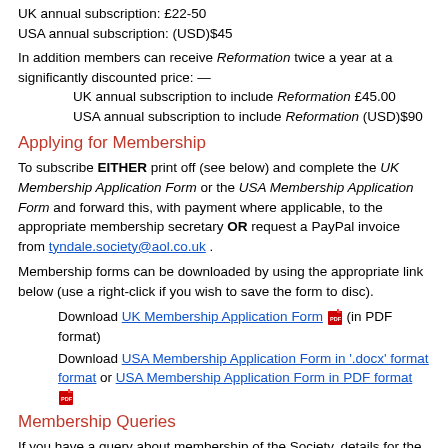UK annual subscription: £22-50
USA annual subscription: (USD)$45
In addition members can receive Reformation twice a year at a significantly discounted price: —
    UK annual subscription to include Reformation £45.00
    USA annual subscription to include Reformation (USD)$90
Applying for Membership
To subscribe EITHER print off (see below) and complete the UK Membership Application Form or the USA Membership Application Form and forward this, with payment where applicable, to the appropriate membership secretary OR request a PayPal invoice from tyndale.society@aol.co.uk .
Membership forms can be downloaded by using the appropriate link below (use a right-click if you wish to save the form to disc).
Download UK Membership Application Form (in PDF format)
Download USA Membership Application Form in '.docx' format or USA Membership Application Form in PDF format
Membership Queries
If you have a query about membership of the Society, details for the relevant person to contact can be found on the Contacts page.
N...